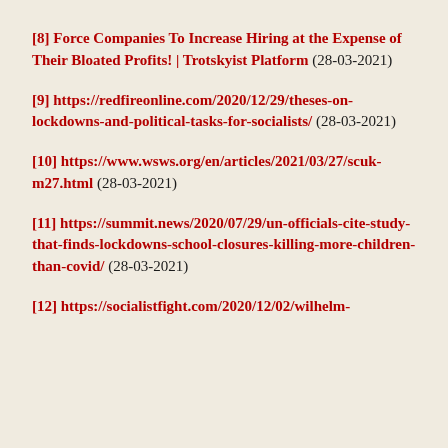[8] Force Companies To Increase Hiring at the Expense of Their Bloated Profits! | Trotskyist Platform (28-03-2021)
[9] https://redfireonline.com/2020/12/29/theses-on-lockdowns-and-political-tasks-for-socialists/ (28-03-2021)
[10] https://www.wsws.org/en/articles/2021/03/27/scuk-m27.html (28-03-2021)
[11] https://summit.news/2020/07/29/un-officials-cite-study-that-finds-lockdowns-school-closures-killing-more-children-than-covid/ (28-03-2021)
[12] https://socialistfight.com/2020/12/02/wilhelm-